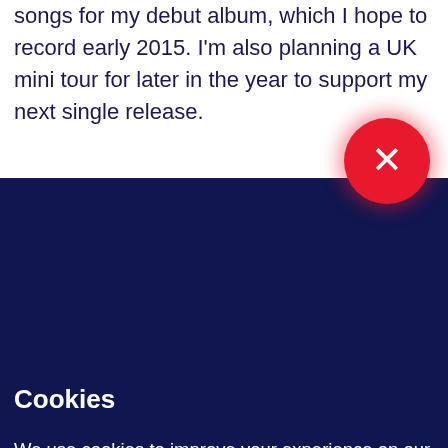songs for my debut album, which I hope to record early 2015. I'm also planning a UK mini tour for later in the year to support my next single release.
[Figure (other): Red circular close/dismiss button with white X symbol, positioned at the boundary between the white top section and the dark navy bottom section]
Cookies
We use cookies to improve your experience on our website, assess how you use our website and for website security purposes. By continuing to navigate this website, we'll assume you agree to this. Read more about what cookies do and how to adjust your settings here.